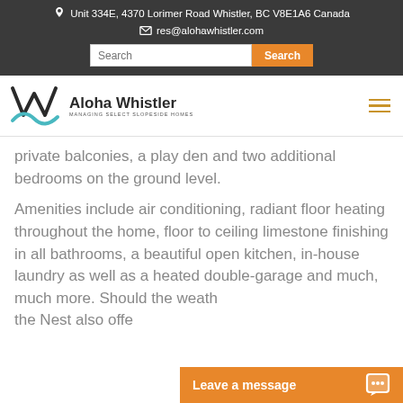Unit 334E, 4370 Lorimer Road Whistler, BC V8E1A6 Canada
res@alohawhistler.com
[Figure (logo): Aloha Whistler logo with W monogram and teal wave, text: Aloha Whistler, Managing Select Slopeside Homes]
private balconies, a play den and two additional bedrooms on the ground level.
Amenities include air conditioning, radiant floor heating throughout the home, floor to ceiling limestone finishing in all bathrooms, a beautiful open kitchen, in-house laundry as well as a heated double-garage and much, much more. Should the weath... the Nest also offe...
Leave a message